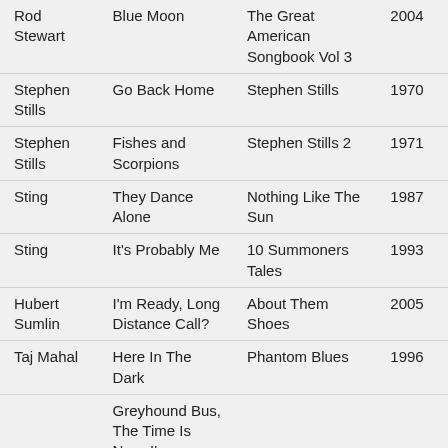| Artist | Song | Album | Year |
| --- | --- | --- | --- |
| Rod Stewart | Blue Moon | The Great American Songbook Vol 3 | 2004 |
| Stephen Stills | Go Back Home | Stephen Stills | 1970 |
| Stephen Stills | Fishes and Scorpions | Stephen Stills 2 | 1971 |
| Sting | They Dance Alone | Nothing Like The Sun | 1987 |
| Sting | It's Probably Me | 10 Summoners Tales | 1993 |
| Hubert Sumlin | I'm Ready, Long Distance Call? | About Them Shoes | 2005 |
| Taj Mahal | Here In The Dark | Phantom Blues | 1996 |
|  | Greyhound Bus, The Time Is Now, I've |  |  |